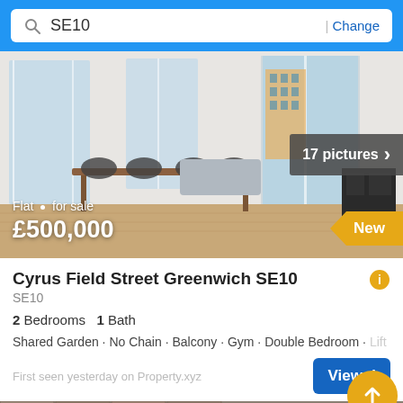SE10 | Change
[Figure (photo): Interior photo of a modern flat with dining table, chairs, and glass balcony doors showing a view of other buildings. Light, airy room with wooden floor.]
Flat · for sale
£500,000
17 pictures
New
Cyrus Field Street Greenwich SE10
SE10
2 Bedrooms   1 Bath
Shared Garden · No Chain · Balcony · Gym · Double Bedroom · Lift
First seen yesterday on Property.xyz
View details
Filter
[Figure (photo): Partial view of the next property listing below, showing a brick building exterior.]